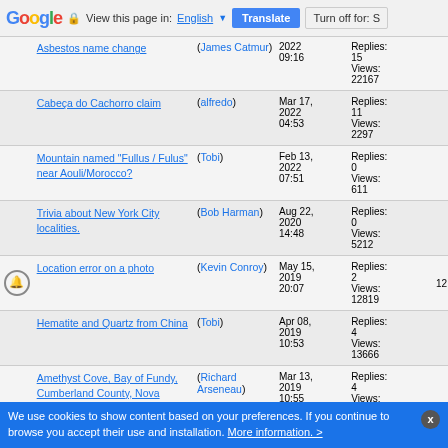Google — View this page in: English | Translate | Turn off for: S
|  | Topic | Author | Date | Stats |  |
| --- | --- | --- | --- | --- | --- |
|  | Asbestos name change | (James Catmur) | 2022 09:16 | Replies: 15 Views: 22167 |  |
|  | Cabeça do Cachorro claim | (alfredo) | Mar 17, 2022 04:53 | Replies: 11 Views: 2297 |  |
|  | Mountain named "Fullus / Fulus" near Aouli/Morocco? | (Tobi) | Feb 13, 2022 07:51 | Replies: 0 Views: 611 |  |
|  | Trivia about New York City localities. | (Bob Harman) | Aug 22, 2020 14:48 | Replies: 0 Views: 5212 |  |
| bell | Location error on a photo | (Kevin Conroy) | May 15, 2019 20:07 | Replies: 2 Views: 12819 | 12 |
|  | Hematite and Quartz from China | (Tobi) | Apr 08, 2019 10:53 | Replies: 4 Views: 13666 |  |
|  | Amethyst Cove, Bay of Fundy, Cumberland County, Nova Scotia, Canada - Correction | (Richard Arseneau) | Mar 13, 2019 10:55 | Replies: 4 Views: 14435 |  |
|  | Modificación requested for Capestang locality | (Philippe Durand) | Mar 24, 2017 12:31 | Replies: 2 Views: 16325 |  |
|  | Changes in French… | (Philippe…) | Mar 24, | Replies: Views: |  |
We use cookies to show content based on your preferences. If you continue to browse you accept their use and installation. More information. >